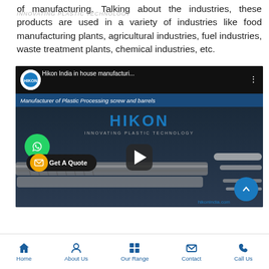INNOVATING PLASTIC TECHNOLOGY
of manufacturing. Talking about the industries, these products are used in a variety of industries like food manufacturing plants, agricultural industries, fuel industries, waste treatment plants, chemical industries, etc.
[Figure (screenshot): YouTube-style video thumbnail showing Hikon India in-house manufacturing video. Features HIKON logo and branding, plastic processing screws and barrels imagery, WhatsApp contact button, Get A Quote button, and hikonindia.com website URL. The video is titled 'Hikon India in house manufacturi...' with subtitle 'Manufacturer of Plastic Processing screw and barrels'.]
Home   About Us   Our Range   Contact   Call Us